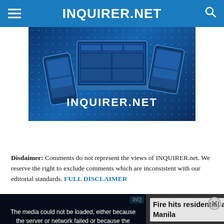INQUIRER.NET
[Figure (screenshot): INQUIRER.NET promotional banner showing website on multiple devices (phone, laptop, tablet) against blue digital background with INQUIRER.NET logo text]
Disdaimer: Comments do not represent the views of INQUIRER.net. We reserve the right to exclude comments which are inconsistent with our editorial standards. FULL DISCLAIMER
[Figure (screenshot): Video player overlay showing error message 'The media could not be loaded, either because the server or network failed or because the format is not supported.' over a video thumbnail of firefighters with caption 'FIRE HITS RESIDENTIAL AREA IN MANILA'. Title reads 'Fire hits residential area in Manila'.]